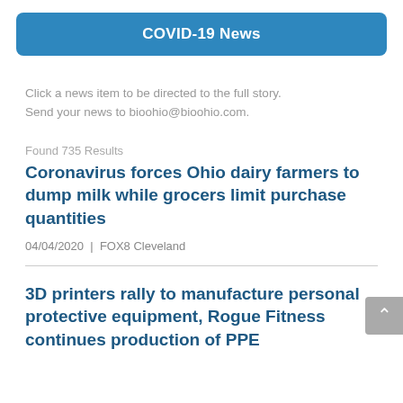COVID-19 News
Click a news item to be directed to the full story. Send your news to bioohio@bioohio.com.
Found 735 Results
Coronavirus forces Ohio dairy farmers to dump milk while grocers limit purchase quantities
04/04/2020  |  FOX8 Cleveland
3D printers rally to manufacture personal protective equipment, Rogue Fitness continues production of PPE